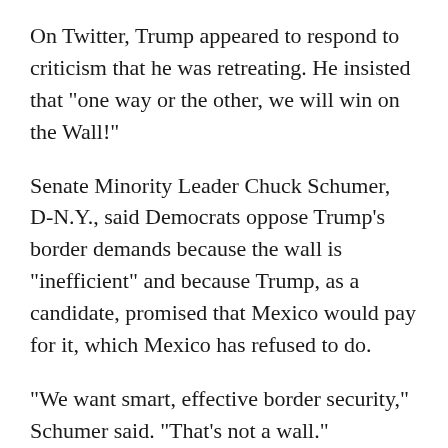On Twitter, Trump appeared to respond to criticism that he was retreating. He insisted that "one way or the other, we will win on the Wall!"
Senate Minority Leader Chuck Schumer, D-N.Y., said Democrats oppose Trump's border demands because the wall is "inefficient" and because Trump, as a candidate, promised that Mexico would pay for it, which Mexico has refused to do.
"We want smart, effective border security," Schumer said. "That's not a wall."
Kolfage's fundraiser has already received over $11 million, raised by over 180,000 people. The GoFundMe page has a goal of $1 billion.